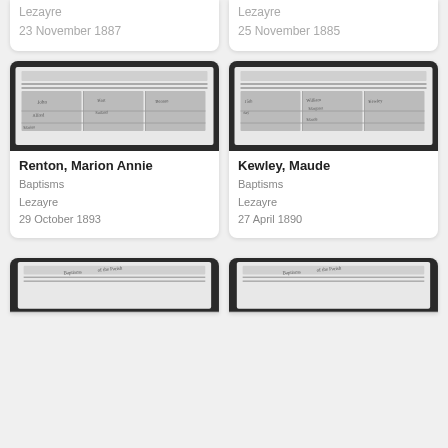[Figure (photo): Partial card top: baptism register page photo (cut off), showing Lezayre, 23 November 1887]
Lezayre
23 November 1887
[Figure (photo): Partial card top: baptism register page photo (cut off), showing Lezayre, 25 November 1885]
Lezayre
25 November 1885
[Figure (photo): Baptism register page photo for Renton, Marion Annie]
Renton, Marion Annie
Baptisms
Lezayre
29 October 1893
[Figure (photo): Baptism register page photo for Kewley, Maude]
Kewley, Maude
Baptisms
Lezayre
27 April 1890
[Figure (photo): Partial card bottom: baptism register page photo (cut off at bottom of page)]
[Figure (photo): Partial card bottom: baptism register page photo (cut off at bottom of page)]